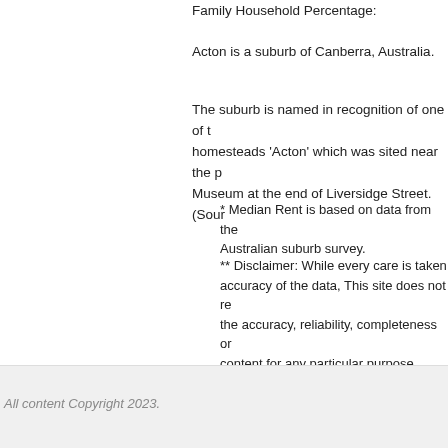Family Household Percentage:
Acton is a suburb of Canberra, Australia.
The suburb is named in recognition of one of the homesteads 'Acton' which was sited near the present Museum at the end of Liversidge Street. (Sour...
* Median Rent is based on data from the Australian suburb survey.
** Disclaimer: While every care is taken accuracy of the data, This site does not re the accuracy, reliability, completeness or content for any particular purpose. Please discover an error.
All content Copyright 2023.